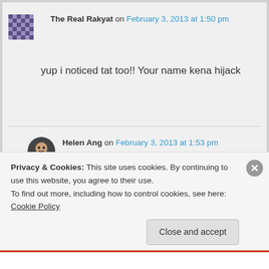The Real Rakyat on February 3, 2013 at 1:50 pm
yup i noticed tat too!! Your name kena hijack
Helen Ang on February 3, 2013 at 1:53 pm
Privacy & Cookies: This site uses cookies. By continuing to use this website, you agree to their use. To find out more, including how to control cookies, see here: Cookie Policy
Close and accept